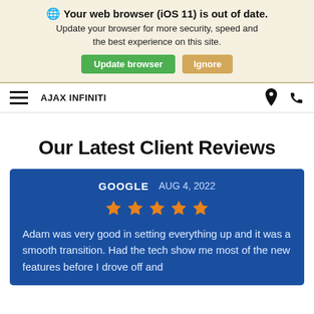Your web browser (iOS 11) is out of date. Update your browser for more security, speed and the best experience on this site. Update browser | Ignore
AJAX INFINITI
Our Latest Client Reviews
GOOGLE  AUG 4, 2022
[Figure (other): 5 orange stars rating]
Adam was very good in setting everything up and it was a smooth transition. Had the tech show me most of the new features before I drove off and